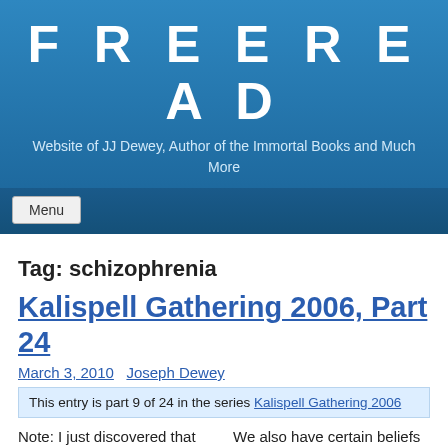FREEREAD
Website of JJ Dewey, Author of the Immortal Books and Much More
Menu
Tag: schizophrenia
Kalispell Gathering 2006, Part 24
March 3, 2010  Joseph Dewey
This entry is part 9 of 24 in the series Kalispell Gathering 2006
Note: I just discovered that the recording equipment was unplugged and we missed
We also have certain beliefs and to overcome illusion one of the last things we have to do